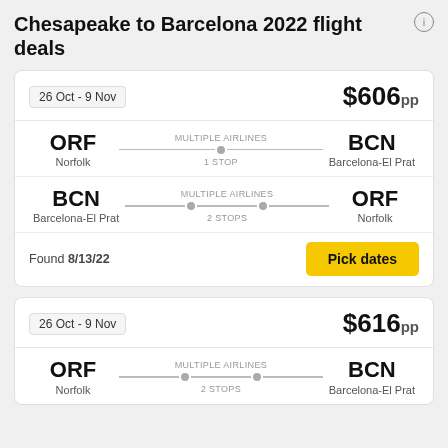Chesapeake to Barcelona 2022 flight deals
| Date | Price | Route | Stops | Found |
| --- | --- | --- | --- | --- |
| 26 Oct - 9 Nov | $606pp | ORF (Norfolk) → BCN (Barcelona-El Prat) | 1 STOP (outbound), 2 STOPS (return) | 8/13/22 |
| 26 Oct - 9 Nov | $616pp | ORF (Norfolk) → BCN (Barcelona-El Prat) | 2 STOPS |  |